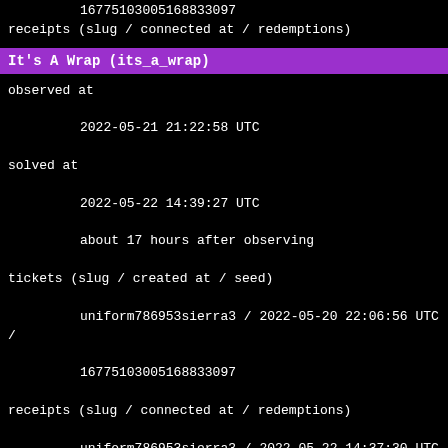16775103005168833097
receipts (slug / connected at / redemptions)
It's A Wrap (its_a_wrap)
observed at
        2022-05-21 21:22:58 UTC
solved at
        2022-05-22 14:39:27 UTC
        about 17 hours after observing
tickets (slug / created at / seed)
        uniform786953sierra3 / 2022-05-20 22:06:56 UTC /
        16775103005168833097
receipts (slug / connected at / redemptions)
        uniform786953sierra3 / 2022-05-22 14:37:30 UTC / 1
        redemption
Ominous Etude (ominous_etude)
observed at
        2022-05-21 21:29:37 UTC
solved at
        never
tickets (slug / created at / seed)
        bravo782672india3 / 2022-05-20 22:06:56 UTC /